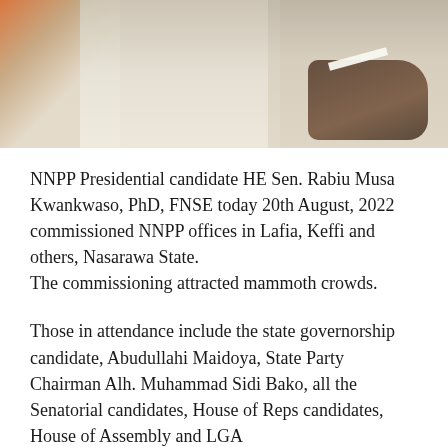[Figure (photo): Photo of people in white traditional Nigerian attire, one person holding a piece of paper/document]
NNPP Presidential candidate HE Sen. Rabiu Musa Kwankwaso, PhD, FNSE today 20th August, 2022 commissioned NNPP offices in Lafia, Keffi and others, Nasarawa State.
The commissioning attracted mammoth crowds.
Those in attendance include the state governorship candidate, Abudullahi Maidoya, State Party Chairman Alh. Muhammad Sidi Bako, all the Senatorial candidates, House of Reps candidates, House of Assembly and LGA party's chairmen and numerous party's supporters across the state.